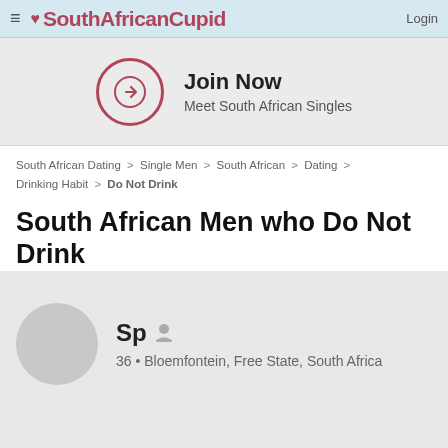≡ ♥ SouthAfricanCupid  Login
[Figure (infographic): Join Now banner with arrow circle icon. Text: Join Now / Meet South African Singles]
South African Dating > Single Men > South African > Dating > Drinking Habit > Do Not Drink
South African Men who Do Not Drink
Sp  36 • Bloemfontein, Free State, South Africa